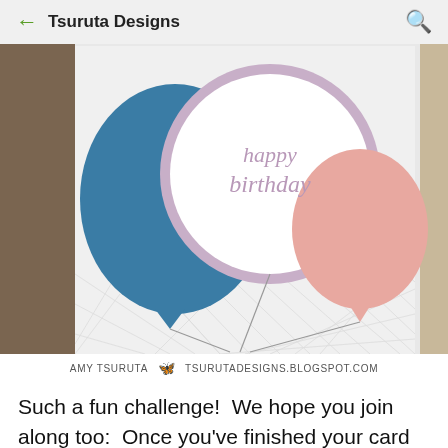← Tsuruta Designs 🔍
[Figure (photo): A birthday card with colorful balloon die-cuts — a blue balloon on the left, a lavender-bordered white balloon in the center with 'happy birthday' text, and a pink balloon on the right. The card background has an embossed diamond/basket-weave pattern. Below the photo are the text 'AMY TSURUTA', a butterfly icon, and 'TSURUTADESIGNS.BLOGSPOT.COM'.]
Such a fun challenge!  We hope you join along too:  Once you've finished your card or other